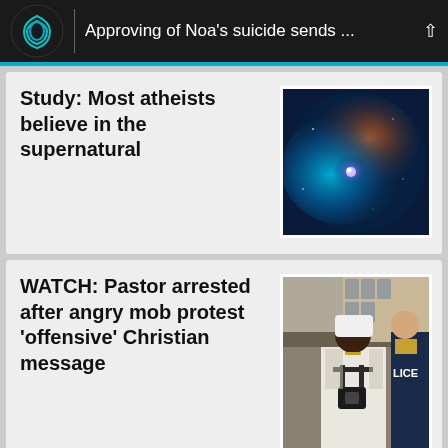Approving of Noa's suicide sends ...
Study: Most atheists believe in the supernatural
[Figure (photo): Space nebula image with blue and orange cosmic gas clouds]
WATCH: Pastor arrested after angry mob protest 'offensive' Christian message
[Figure (photo): A man in white clothing with a camera harness standing in front of police officers]